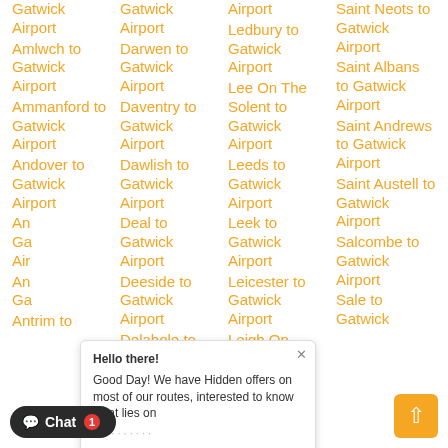Gatwick Airport
Amlwch to Gatwick Airport
Ammanford to Gatwick Airport
Andover to Gatwick Airport
An... Ga... Air...
An... Ga...
Antrim to
Gatwick Airport
Darwen to Gatwick Airport
Daventry to Gatwick Airport
Dawlish to Gatwick Airport
Deal to Gatwick Airport
Deeside to Gatwick Airport
Delabole to
Airport Ledbury to Gatwick Airport
Lee On The Solent to Gatwick Airport
Leeds to Gatwick Airport
Leek to Gatwick Airport
Leicester to Gatwick Airport
Leigh On
Saint Neots to Gatwick Airport
Saint Albans to Gatwick Airport
Saint Andrews to Gatwick Airport
Saint Austell to Gatwick Airport
Salcombe to Gatwick Airport
Sale to Gatwick
[Figure (screenshot): Chat popup overlay with text 'Hello there! Good Day! We have Hidden offers on most of our routes, interested to know what lies on...' with Type, thumbs up, paperclip, emoji icons and 'chat now! enter' hint text. Close button (x) at top right.]
[Figure (screenshot): Chat button at bottom left: dark rounded button with chat bubble icon, 'Chat' text, and red notification badge showing '1']
[Figure (screenshot): Orange scroll-to-top button at bottom right with upward chevron/arrow icon]